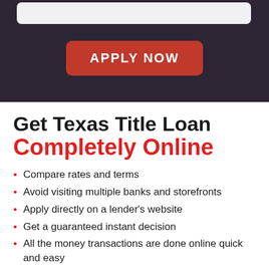[Figure (screenshot): Dark purple/navy header section with a light gray input bar at the top and a red 'APPLY NOW' button centered below it]
Get Texas Title Loan Completely Online
Compare rates and terms
Avoid visiting multiple banks and storefronts
Apply directly on a lender's website
Get a guaranteed instant decision
All the money transactions are done online quick and easy